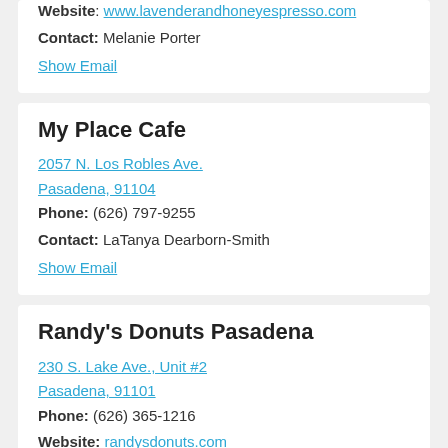Website: www.lavenderandhoneyespresso.com
Contact: Melanie Porter
Show Email
My Place Cafe
2057 N. Los Robles Ave. Pasadena, 91104
Phone: (626) 797-9255
Contact: LaTanya Dearborn-Smith
Show Email
Randy's Donuts Pasadena
230 S. Lake Ave., Unit #2 Pasadena, 91101
Phone: (626) 365-1216
Website: randysdonuts.com